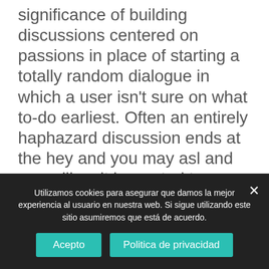significance of building discussions centered on passions in place of starting a totally random dialogue in which a user isn't sure on what to-do earliest. Often an entirely haphazard discussion ends at the hey and you may asl and you will so it is wanted to produce a tremendously most useful method away from hooking up somebody. We as well as direct you contact pointers besides just letting you carry out haphazard chat to expand the possibilities of future discussions We and additionally keep informed courtesy force notifications and that means you never
Utilizamos cookies para asegurar que damos la mejor experiencia al usuario en nuestra web. Si sigue utilizando este sitio asumiremos que está de acuerdo.
Acepto
Politica de privacidad